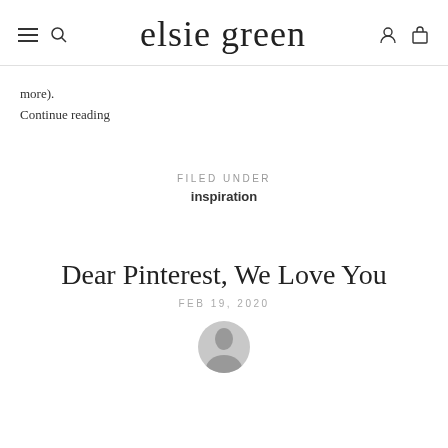elsie green
more).
Continue reading
FILED UNDER
inspiration
Dear Pinterest, We Love You
FEB 19, 2020
[Figure (photo): Circular avatar photo of a person, partially visible at bottom of page]